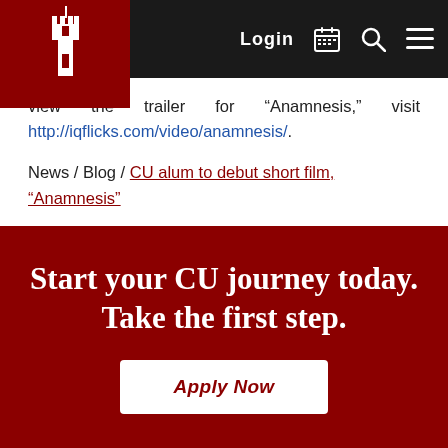Login [calendar] [search] [menu]
view the trailer for “Anamnesis,” visit http://iqflicks.com/video/anamnesis/.
News / Blog / CU alum to debut short film, “Anamnesis”
Start your CU journey today. Take the first step.
Apply Now